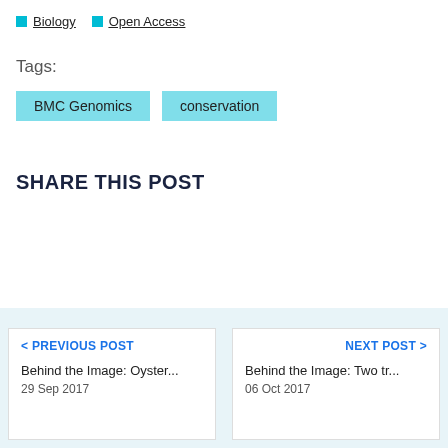Biology
Open Access
Tags:
BMC Genomics
conservation
SHARE THIS POST
< PREVIOUS POST
Behind the Image: Oyster...
29 Sep 2017
NEXT POST >
Behind the Image: Two tr...
06 Oct 2017